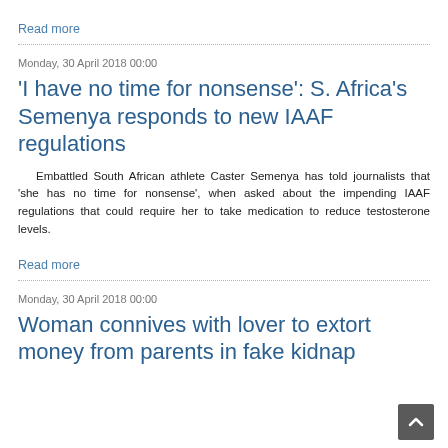Read more
Monday, 30 April 2018 00:00
'I have no time for nonsense': S. Africa's Semenya responds to new IAAF regulations
Embattled South African athlete Caster Semenya has told journalists that 'she has no time for nonsense', when asked about the impending IAAF regulations that could require her to take medication to reduce testosterone levels.
Read more
Monday, 30 April 2018 00:00
Woman connives with lover to extort money from parents in fake kidnap